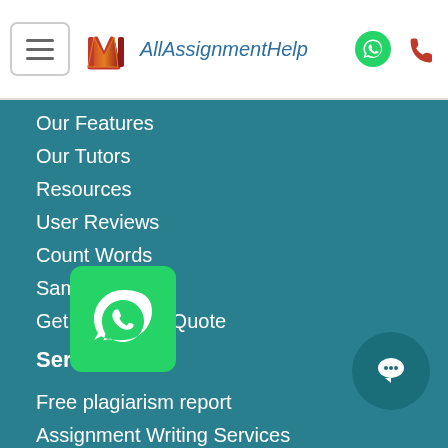[Figure (logo): AllAssignmentHelp logo with hamburger menu icon and phone/WhatsApp icons in header]
Our Features
Our Tutors
Resources
User Reviews
Count Words
Samples
Get Free Price Quote
Services
Free plagiarism report
Assignment Writing Services
Essay Writing Services
Dissertation Writing Services
Programming Services